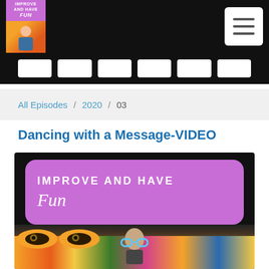IMPROVE AND HAVE Fun - Navigation bar with logo and menu button
All Episodes / 2020 / 03
Dancing with a Message-VIDEO
[Figure (photo): A purple card with text 'IMPROVE AND HAVE Fun' above a photo of a person wearing sunglasses in front of a colorful mural/graffiti wall]